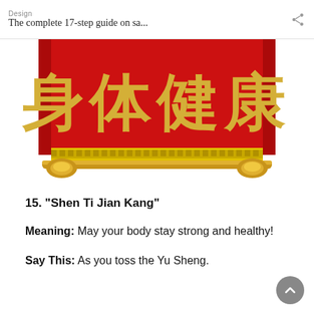Design
The complete 17-step guide on sa...
[Figure (illustration): A red Chinese decorative scroll banner with gold Chinese characters reading 'Shen Ti Jian Kang' on a red background, with a gold fret-pattern border along the bottom edge and gold cylindrical rollers at the bottom corners.]
15. "Shen Ti Jian Kang"
Meaning: May your body stay strong and healthy!
Say This: As you toss the Yu Sheng.